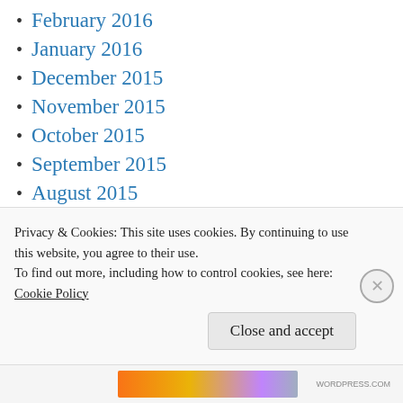February 2016
January 2016
December 2015
November 2015
October 2015
September 2015
August 2015
July 2015
June 2015
May 2015
April 2015
Privacy & Cookies: This site uses cookies. By continuing to use this website, you agree to their use.
To find out more, including how to control cookies, see here:
Cookie Policy
Close and accept